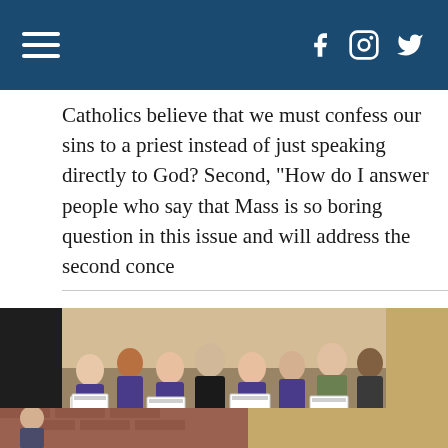Navigation header with hamburger menu and social media icons (Facebook, Instagram, Twitter)
Catholics believe that we must confess our sins to a priest instead of just speaking directly to God? Second, "How do I answer people who say that Mass is so boring question in this issue and will address the second conce
[Figure (photo): Group photo of students in purple shirts holding certificates, with a priest in black clerical attire standing among them, in what appears to be a school hallway or common area.]
[Figure (photo): Partial bottom photo showing a person near a brick wall and a tan/gold textured background section.]